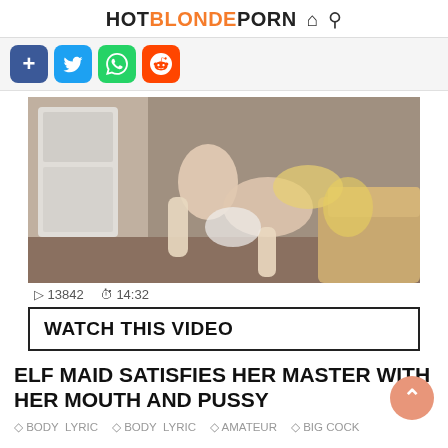HOTBLONDEPORN
[Figure (other): Social share buttons: add (+), Twitter, WhatsApp, Reddit]
[Figure (photo): Video thumbnail showing explicit adult content]
▷ 13842  ⏱ 14:32
WATCH THIS VIDEO
ELF MAID SATISFIES HER MASTER WITH HER MOUTH AND PUSSY
◇ BODY  LYRIC   ◇ BODY  LYRIC   ◇ AMATEUR   ◇ BIG COCK